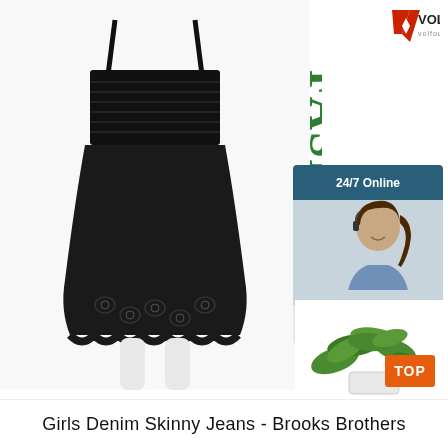[Figure (photo): Black sleeveless dress with eyelet lace hem detail on a white mannequin/model]
[Figure (logo): Volfour logo with red V chevron shape and text VOLFOUR]
[Figure (infographic): Vertical rotated text reading FASHION SHOW in dark green]
[Figure (infographic): Live chat widget showing 24/7 Online, female customer service agent with headset, Click here for free chat!, and QUOTATION button]
[Figure (photo): Green ivy plant in white pot with orange TOP button overlay]
Girls Denim Skinny Jeans - Brooks Brothers